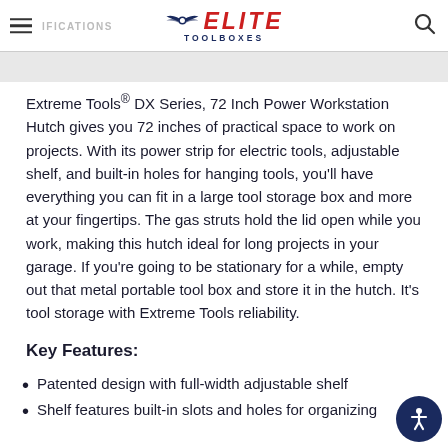ELITE TOOLBOXES
Extreme Tools® DX Series, 72 Inch Power Workstation Hutch gives you 72 inches of practical space to work on projects. With its power strip for electric tools, adjustable shelf, and built-in holes for hanging tools, you'll have everything you can fit in a large tool storage box and more at your fingertips. The gas struts hold the lid open while you work, making this hutch ideal for long projects in your garage. If you're going to be stationary for a while, empty out that metal portable tool box and store it in the hutch. It's tool storage with Extreme Tools reliability.
Key Features:
Patented design with full-width adjustable shelf
Shelf features built-in slots and holes for organizing